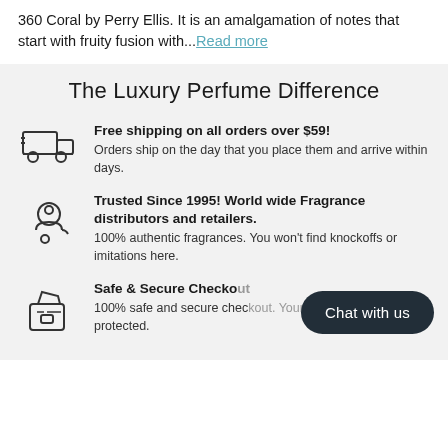360 Coral by Perry Ellis. It is an amalgamation of notes that start with fruity fusion with...Read more
The Luxury Perfume Difference
Free shipping on all orders over $59! Orders ship on the day that you place them and arrive within days.
Trusted Since 1995! World wide Fragrance distributors and retailers. 100% authentic fragrances. You won't find knockoffs or imitations here.
Safe & Secure Checkout. 100% safe and secure checkout. Your information is protected.